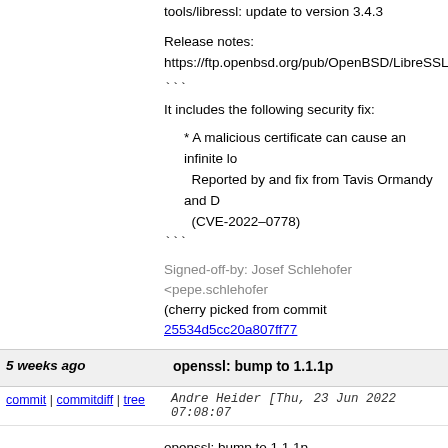tools/libressl: update to version 3.4.3
Release notes:
https://ftp.openbsd.org/pub/OpenBSD/LibreSSL/lib
```
It includes the following security fix:
* A malicious certificate can cause an infinite lo...
  Reported by and fix from Tavis Ormandy and D...
  (CVE-2022–0778)
```
Signed-off-by: Josef Schlehofer <pepe.schlehofer...>
(cherry picked from commit 25534d5cc20a807ff77...
5 weeks ago    openssl: bump to 1.1.1p
commit | commitdiff | tree    Andre Heider [Thu, 23 Jun 2022 07:08:07
openssl: bump to 1.1.1p
Changes between 1.1.1o and 1.1.1p [21 Jun 2022...
*) In addition to the c_rehash shell command inje...
   CVE-2022-1292, further bugs where the c_reha...
   properly sanitise shell metacharacters to preve...
   fixed.
When the CVE-2022-1292 was fixed it was...